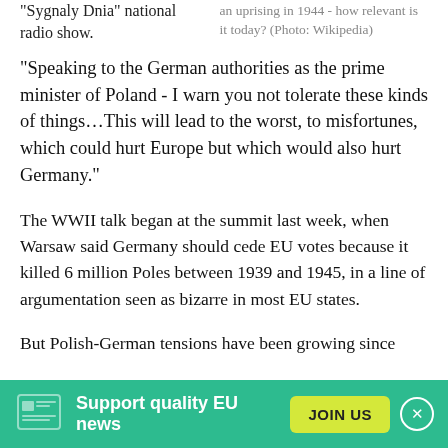"Sygnaly Dnia" national radio show.
an uprising in 1944 - how relevant is it today? (Photo: Wikipedia)
"Speaking to the German authorities as the prime minister of Poland - I warn you not tolerate these kinds of things...This will lead to the worst, to misfortunes, which could hurt Europe but which would also hurt Germany."
The WWII talk began at the summit last week, when Warsaw said Germany should cede EU votes because it killed 6 million Poles between 1939 and 1945, in a line of argumentation seen as bizarre in most EU states.
But Polish-German tensions have been growing since
Support quality EU news
JOIN US